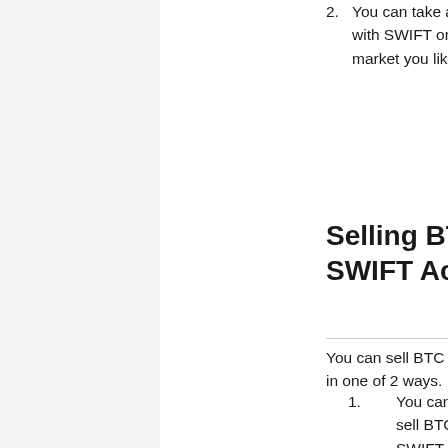2. You can take an offer to buy BTC with SWIFT on any currency market you like.
Selling BTC with a SWIFT Account
You can sell BTC with SWIFT on Bisq in one of 2 ways.
1. You can make an offer to sell BTC for payment via SWIFT on a currency